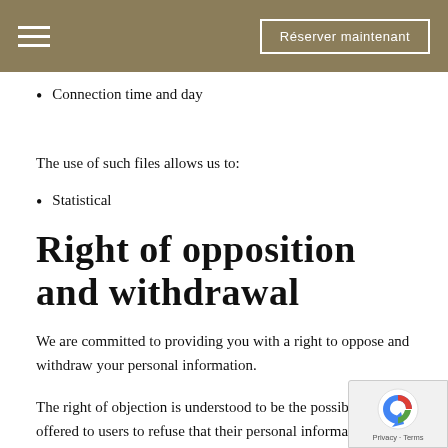Réserver maintenant
Connection time and day
The use of such files allows us to:
Statistical
Right of opposition and withdrawal
We are committed to providing you with a right to oppose and withdraw your personal information.
The right of objection is understood to be the possiblity offered to users to refuse that their personal information be used for certain mentioned during the collection.